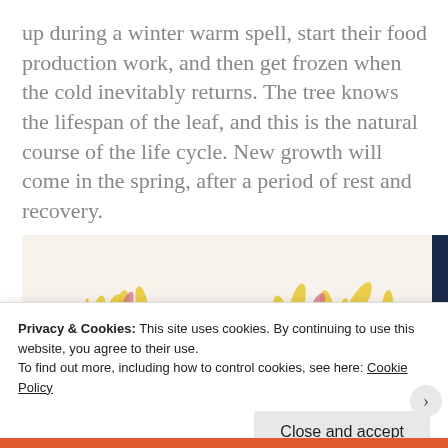up during a winter warm spell, start their food production work, and then get frozen when the cold inevitably returns. The tree knows the lifespan of the leaf, and this is the natural course of the life cycle. New growth will come in the spring, after a period of rest and recovery.
[Figure (illustration): A watercolor or crayon illustration showing colorful abstract plant/leaf forms in yellow, pink, green on a light background, resembling a garden or foliage scene.]
Privacy & Cookies: This site uses cookies. By continuing to use this website, you agree to their use.
To find out more, including how to control cookies, see here: Cookie Policy
Close and accept